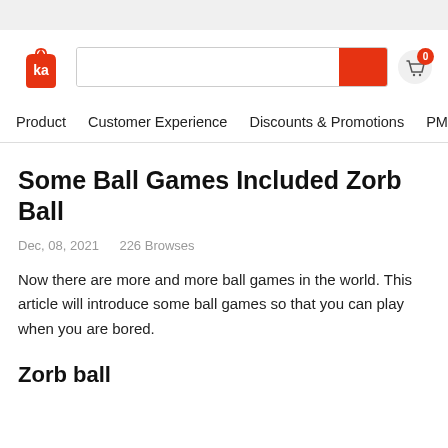[Figure (logo): Website header with logo (orange bag icon with 'ka' text), search bar with red search button, and cart icon with badge showing 0]
Product   Customer Experience   Discounts & Promotions   PMore ∨
Some Ball Games Included Zorb Ball
Dec, 08, 2021    226 Browses
Now there are more and more ball games in the world. This article will introduce some ball games so that you can play when you are bored.
Zorb ball